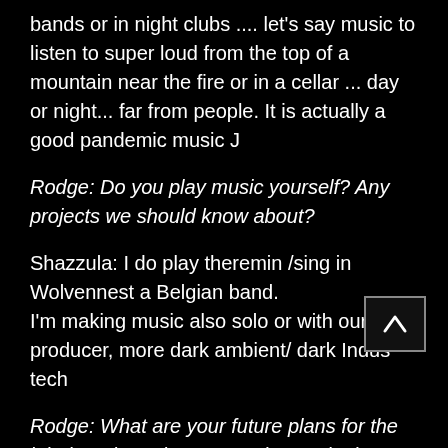bands or in night clubs .... let's say music to listen to super loud from the top of a mountain near the fire or in a cellar ... day or night... far from people. It is actually a good pandemic music J
Rodge: Do you play music yourself? Any projects we should know about?
Shazzula: I do play theremin /sing in Wolvennest a Belgian band.
I'm making music also solo or with our producer, more dark ambient/ dark Indus tech
Rodge: What are your future plans for the label, and are there any releases in the pipeline you'd like to talk about?